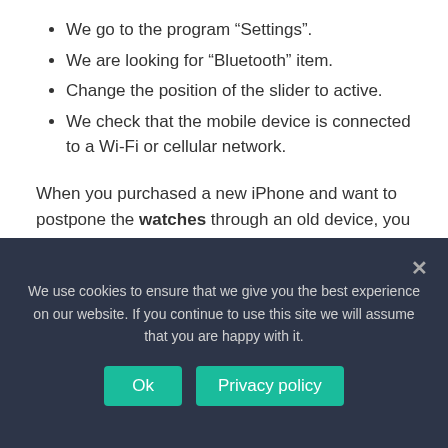We go to the program “Settings”.
We are looking for “Bluetooth” item.
Change the position of the slider to active.
We check that the mobile device is connected to a Wi-Fi or cellular network.
When you purchased a new iPhone and want to postpone the watches through an old device, you follow:
Find out Apple ID, the technique should be charged over 50%.
We use cookies to ensure that we give you the best experience on our website. If you continue to use this site we will assume that you are happy with it.